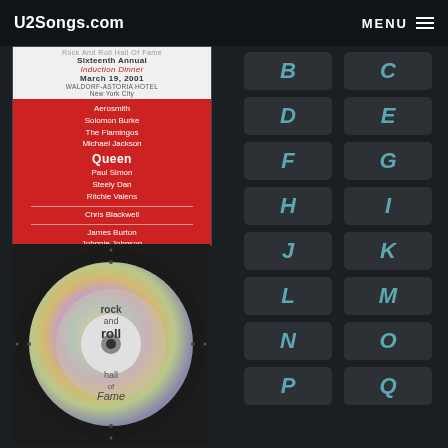U2Songs.com  MENU
[Figure (photo): Rock and Roll Hall of Fame Sixteenth Annual Induction Dinner, March 19, 2001, Waldorf-Astoria Hotel, New York City. Red CD booklet listing Aerosmith, Solomon Burke, The Flamingos, Michael Jackson, Queen, Paul Simon, Steely Dan, Ritchie Valens, Chris Blackwell, James Burton, Johnnie Johnson.]
[Figure (photo): Rock and Roll Hall of Fame CD disc with rainbow sheen.]
B
C
D
E
F
G
H
I
J
K
L
M
N
O
P
Q